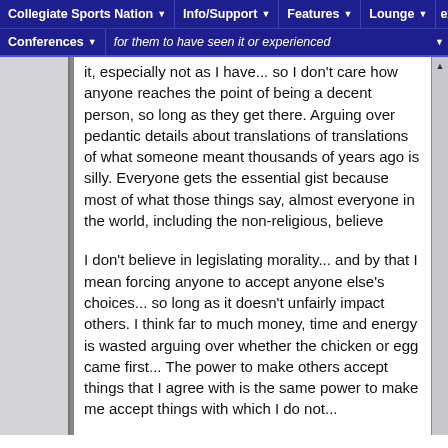Collegiate Sports Nation | Info/Support | Features | Lounge | Conferences
care how anyone reaches the point of being a decent person, so long as they get there. Arguing over pedantic details about translations of translations of what someone meant thousands of years ago is silly. Everyone gets the essential gist because most of what those things say, almost everyone in the world, including the non-religious, believe
I don't believe in legislating morality... and by that I mean forcing anyone to accept anyone else's choices... so long as it doesn't unfairly impact others. I think far to much money, time and energy is wasted arguing over whether the chicken or egg came first... The power to make others accept things that I agree with is the same power to make me accept things with which I do not...